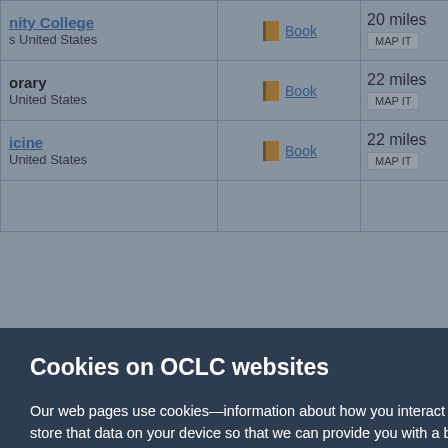| Institution | Format | Distance |  |
| --- | --- | --- | --- |
| nity College
United States | Book | 20 miles
MAP IT |  |
| orary
United States | Book | 22 miles
MAP IT |  |
| icine
United States | Book | 22 miles
MAP IT |  |
Cookies on OCLC websites
Our web pages use cookies—information about how you interact with the site. When you select “Accept all cookies,” you’re agreeing to let your browser store that data on your device so that we can provide you with a better, more relevant experience.
Selecting “Reject unnecessary cookies” limits the data that’s stored to what’s strictly necessary for using the site. However, that may negatively impact your experience. You can also customize your cookie settings.
See our Cookie Notice for more information